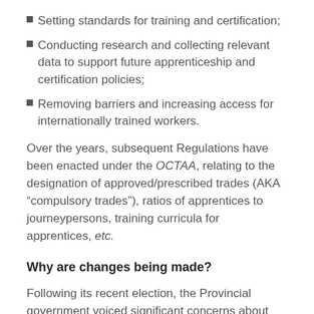Setting standards for training and certification;
Conducting research and collecting relevant data to support future apprenticeship and certification policies;
Removing barriers and increasing access for internationally trained workers.
Over the years, subsequent Regulations have been enacted under the OCTAA, relating to the designation of approved/prescribed trades (AKA “compulsory trades”), ratios of apprentices to journeypersons, training curricula for apprentices, etc.
Why are changes being made?
Following its recent election, the Provincial government voiced significant concerns about the